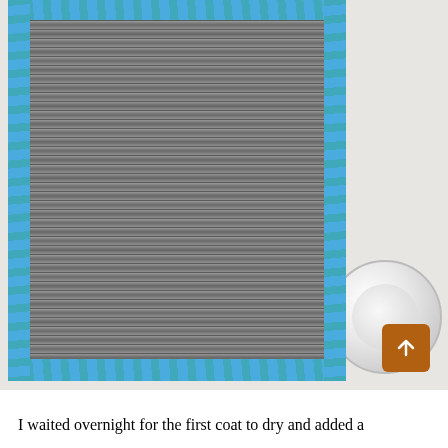[Figure (photo): A letter board with corrugated felt rows, bordered with blue painter's tape on all four sides, lying on a light gray/white surface. A white ceramic bowl is partially visible in the upper right corner. A brown scroll-to-top button with an upward arrow is in the lower right of the photo.]
I waited overnight for the first coat to dry and added a